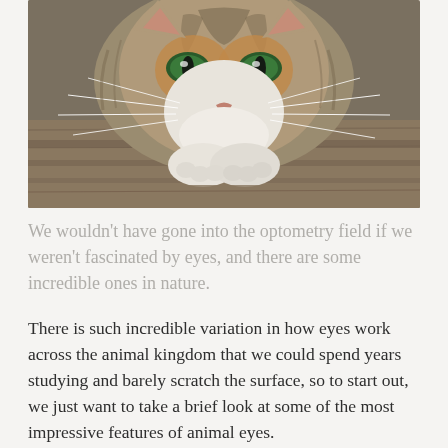[Figure (photo): Close-up photograph of a tabby cat with green eyes resting its chin/paws on a wooden surface, looking directly at the camera. The cat has distinctive striped markings, white chest, and prominent whiskers.]
We wouldn't have gone into the optometry field if we weren't fascinated by eyes, and there are some incredible ones in nature.
There is such incredible variation in how eyes work across the animal kingdom that we could spend years studying and barely scratch the surface, so to start out, we just want to take a brief look at some of the most impressive features of animal eyes.